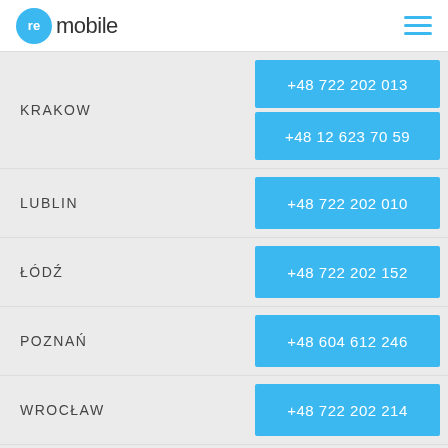remobile
KRAKOW +48 722 202 013 +48 12 623 70 59
LUBLIN +48 722 202 010
ŁÓDŹ +48 722 202 152
POZNAŃ +48 604 612 246
WROCŁAW +48 722 202 214
NEWSLETTER